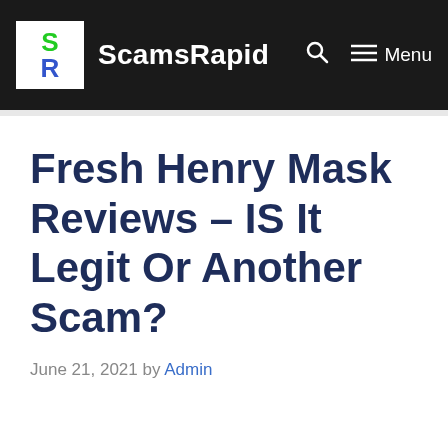ScamsRapid — Menu
Fresh Henry Mask Reviews – IS It Legit Or Another Scam?
June 21, 2021 by Admin